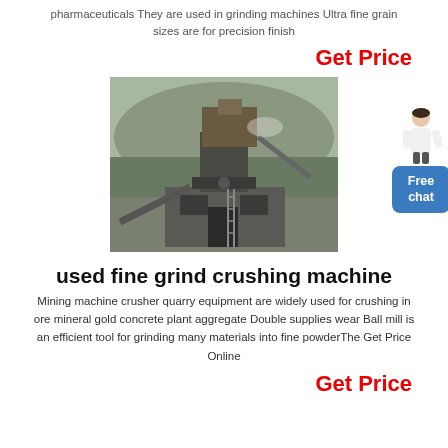pharmaceuticals They are used in grinding machines Ultra fine grain sizes are for precision finish
Get Price
[Figure (photo): Industrial crushing/grinding machine at a quarry or mining site, with large mechanical equipment and rocky terrain in the background.]
[Figure (illustration): Small illustration of a customer service person (woman) next to a blue 'Free chat' button.]
used fine grind crushing machine
Mining machine crusher quarry equipment are widely used for crushing in ore mineral gold concrete plant aggregate Double supplies wear Ball mill is an efficient tool for grinding many materials into fine powderThe Get Price Online
Get Price